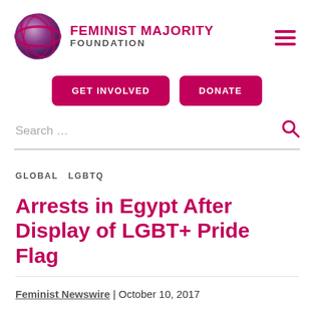[Figure (logo): Feminist Majority Foundation logo with globe graphic and text]
GET INVOLVED   DONATE
Search …
GLOBAL   LGBTQ
Arrests in Egypt After Display of LGBT+ Pride Flag
Feminist Newswire | October 10, 2017